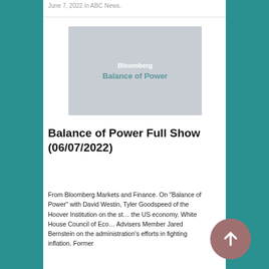June 7, 2022 in ABC News.
[Figure (screenshot): Bloomberg Balance of Power show thumbnail image with gray background and white/teal text]
Balance of Power Full Show (06/07/2022)
From Bloomberg Markets and Finance. On "Balance of Power" with David Westin, Tyler Goodspeed of the Hoover Institution on the state of the US economy. White House Council of Economic Advisers Member Jared Bernstein on the administration's efforts in fighting inflation. Former